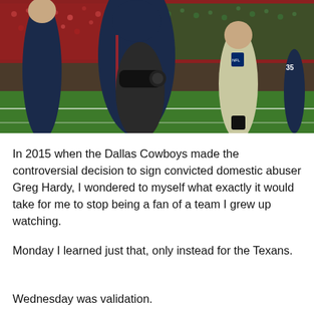[Figure (photo): NFL sideline photo showing coaches and a photographer on a football field with crowd in the background. People wearing navy blue NFL coaching gear and a photographer with large camera lens visible. A person in khaki shorts and a vest with an NFL logo is walking away from the camera.]
In 2015 when the Dallas Cowboys made the controversial decision to sign convicted domestic abuser Greg Hardy, I wondered to myself what exactly it would take for me to stop being a fan of a team I grew up watching.
Monday I learned just that, only instead for the Texans.
Wednesday was validation.